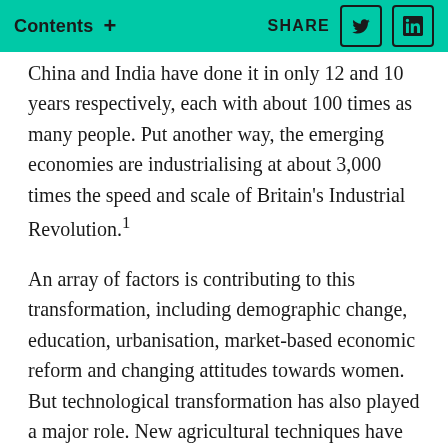Contents + SHARE
China and India have done it in only 12 and 10 years respectively, each with about 100 times as many people. Put another way, the emerging economies are industrialising at about 3,000 times the speed and scale of Britain's Industrial Revolution.¹
An array of factors is contributing to this transformation, including demographic change, education, urbanisation, market-based economic reform and changing attitudes towards women. But technological transformation has also played a major role. New agricultural techniques have massively increased farm productivity and freed workers to move to cities, further boosting productivity. Medical advances have increased